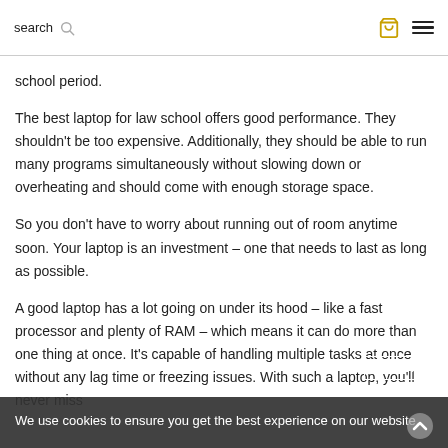search 🔍 🛒 ☰
school period.
The best laptop for law school offers good performance. They shouldn't be too expensive. Additionally, they should be able to run many programs simultaneously without slowing down or overheating and should come with enough storage space.
So you don't have to worry about running out of room anytime soon. Your laptop is an investment – one that needs to last as long as possible.
A good laptop has a lot going on under its hood – like a fast processor and plenty of RAM – which means it can do more than one thing at once. It's capable of handling multiple tasks at once without any lag time or freezing issues. With such a laptop, you'll never miss
We use cookies to ensure you get the best experience on our website.